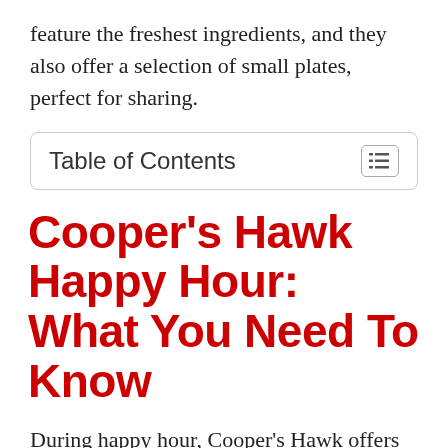feature the freshest ingredients, and they also offer a selection of small plates, perfect for sharing.
Table of Contents
Cooper's Hawk Happy Hour: What You Need To Know
During happy hour, Cooper's Hawk offers discounts on select wines by the glass and bottle, as well as special